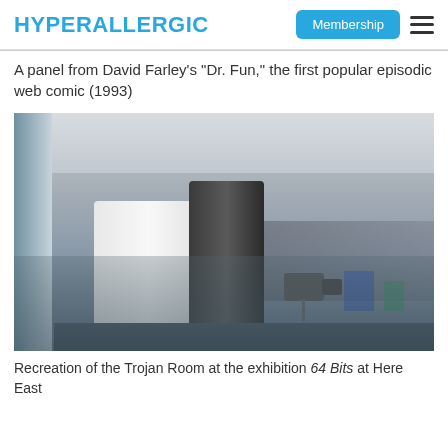HYPERALLERGIC | Membership
A panel from David Farley’s “Dr. Fun,” the first popular episodic web comic (1993)
[Figure (photo): Photo showing a coffeemaker and a small surveillance camera on a table in a large open exhibition hall with blurry people in background. Recreation of the Trojan Room coffee pot setup.]
Recreation of the Trojan Room at the exhibition 64 Bits at Here East